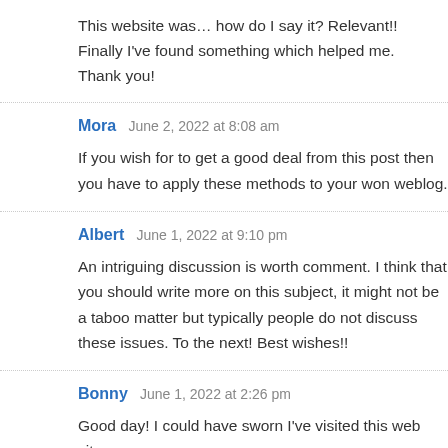This website was… how do I say it? Relevant!! Finally I've found something which helped me. Thank you!
Mora  June 2, 2022 at 8:08 am
If you wish for to get a good deal from this post then you have to apply these methods to your won weblog.
Albert  June 1, 2022 at 9:10 pm
An intriguing discussion is worth comment. I think that you should write more on this subject, it might not be a taboo matter but typically people do not discuss these issues. To the next! Best wishes!!
Bonny  June 1, 2022 at 2:26 pm
Good day! I could have sworn I've visited this web site before but after going through a few of the posts I realized it's new...